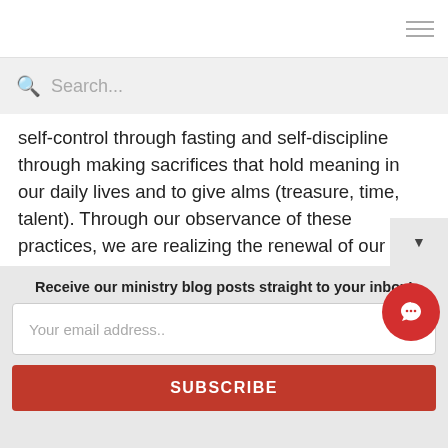Search...
self-control through fasting and self-discipline through making sacrifices that hold meaning in our daily lives and to give alms (treasure, time, talent). Through our observance of these practices, we are realizing the renewal of our baptismal commitments.
Jesus' 40 days in the desert spent in complete solitude. He faced His journey and the temptations of the devil without support. Today, we are faced with our own deserts. Many of our parishes have closed their doors, canceled all gath...
Receive our ministry blog posts straight to your inbox!
Your email address..
SUBSCRIBE